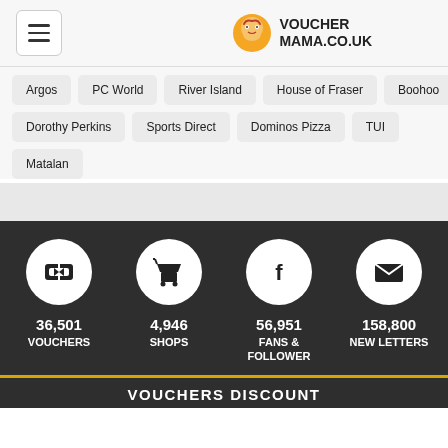VOUCHERMAMA.CO.UK
Argos
PC World
River Island
House of Fraser
Boohoo
Dorothy Perkins
Sports Direct
Dominos Pizza
TUI
Matalan
[Figure (infographic): Four circular icons on dark background showing stats: ticket icon 36,501 VOUCHERS; shopping cart icon 4,946 SHOPS; Facebook icon 56,951 FANS & FOLLOWER; envelope icon 158,800 NEW LETTERS]
VOUCHERS DISCOUNT